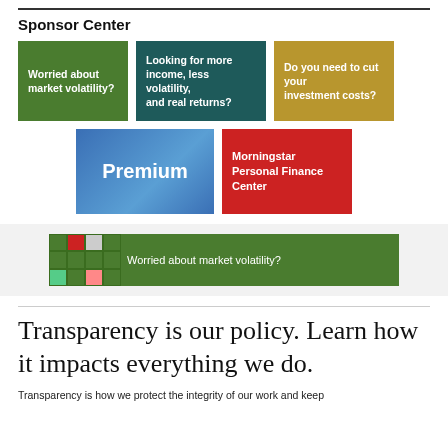Sponsor Center
[Figure (infographic): Three sponsor ad tiles in a row: green tile 'Worried about market volatility?', teal tile 'Looking for more income, less volatility, and real returns?', gold tile 'Do you need to cut your investment costs?']
[Figure (infographic): Two sponsor ad tiles: blue gradient 'Premium', red 'Morningstar Personal Finance Center']
[Figure (infographic): Green banner ad with colorful tiles on left and text 'Worried about market volatility?']
Transparency is our policy. Learn how it impacts everything we do.
Transparency is how we protect the integrity of our work and keep